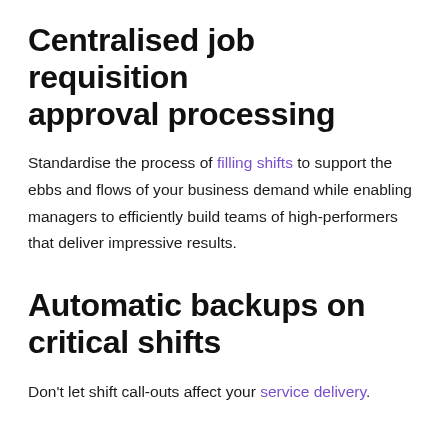Centralised job requisition approval processing
Standardise the process of filling shifts to support the ebbs and flows of your business demand while enabling managers to efficiently build teams of high-performers that deliver impressive results.
Automatic backups on critical shifts
Don't let shift call-outs affect your service delivery.